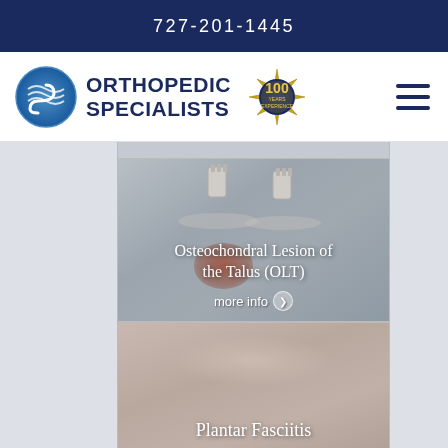727-201-1445
[Figure (logo): Orthopedic Specialists logo with blue wave circle icon, 100 Years Experience badge]
[Figure (illustration): Medical illustration of osteochondral lesion of the talus with bone implant cylinders]
Osteochondral Lesion of the Talus (OLT)
more info ❯
[Figure (photo): Plantar Fasciitis medical illustration showing foot/heel area]
Plantar Fasciitis